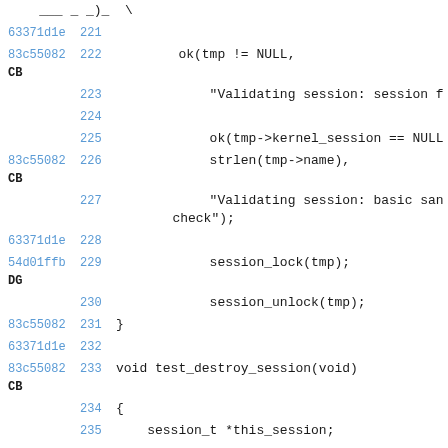Code diff view showing lines 221-235 of a C source file with commit hashes and line numbers
63371d1e 221
83c55082 CB 222   ok(tmp != NULL,
223     "Validating session: session f
224
225     ok(tmp->kernel_session == NULL &&
83c55082 CB 226     strlen(tmp->name),
227     "Validating session: basic san
check");
63371d1e 228
54d01ffb DG 229     session_lock(tmp);
230     session_unlock(tmp);
83c55082 231 }
63371d1e 232
83c55082 CB 233 void test_destroy_session(void)
234 {
235 ...